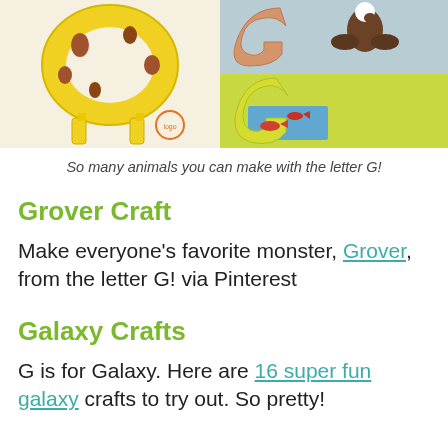[Figure (photo): Three craft images: left - a yellow letter G shaped like a giraffe with clothespin legs and brown spots; top right - a gray-blue letter G with a brown bird/goose figure; bottom right - a yellow-green letter G with blue water and red fish.]
So many animals you can make with the letter G!
Grover Craft
Make everyone's favorite monster, Grover, from the letter G! via Pinterest
Galaxy Crafts
G is for Galaxy. Here are 16 super fun galaxy crafts to try out. So pretty!